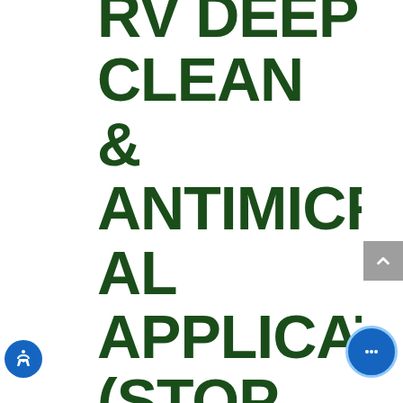RV DEEP CLEAN & ANTIMICROBIAL APPLICATION (STOP THE SPREAD OF COVID!) STARTING AT $399